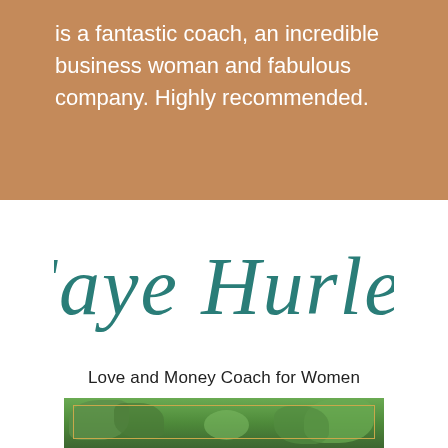is a fantastic coach, an incredible business woman and fabulous company. Highly recommended.
[Figure (logo): Faye Hurley script logo in teal cursive lettering]
Love and Money Coach for Women
[Figure (photo): Green foliage background with a gold/yellow rectangular frame overlay]